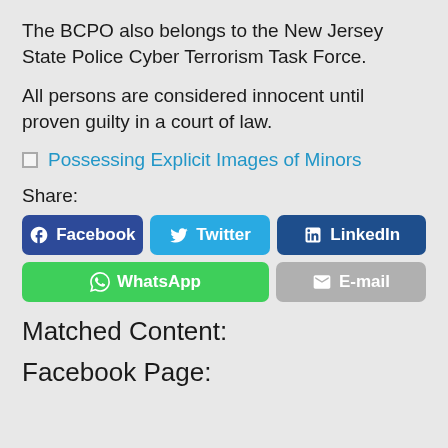The BCPO also belongs to the New Jersey State Police Cyber Terrorism Task Force.
All persons are considered innocent until proven guilty in a court of law.
Possessing Explicit Images of Minors
Share:
[Figure (other): Social share buttons: Facebook, Twitter, LinkedIn, WhatsApp, E-mail]
Matched Content:
Facebook Page: